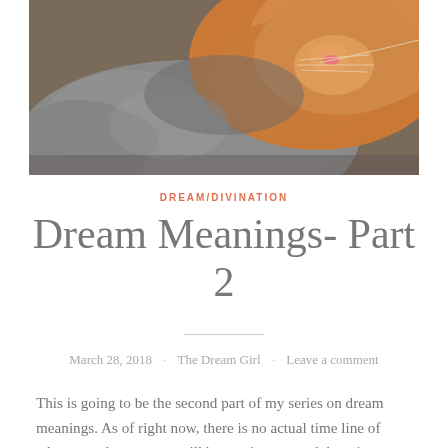[Figure (photo): Close-up photo of two cats sleeping together — an orange tabby cat and a grey cat nestled against each other]
DREAM/DIVINATION
Dream Meanings- Part 2
March 28, 2018 · The Dream Girl · Leave a comment
This is going to be the second part of my series on dream meanings. As of right now, there is no actual time line of when new dream posts will be coming out and there is no set number.